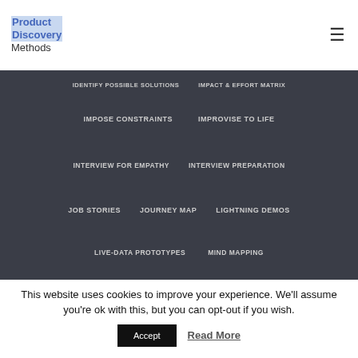Product Discovery Methods
IDENTIFY POSSIBLE SOLUTIONS
IMPACT & EFFORT MATRIX
IMPOSE CONSTRAINTS
IMPROVISE TO LIFE
INTERVIEW FOR EMPATHY
INTERVIEW PREPARATION
JOB STORIES
JOURNEY MAP
LIGHTNING DEMOS
LIVE-DATA PROTOTYPES
MIND MAPPING
MODERATED USABILITY STUDY
NARROW THE FIELD
This website uses cookies to improve your experience. We'll assume you're ok with this, but you can opt-out if you wish.
Accept  Read More